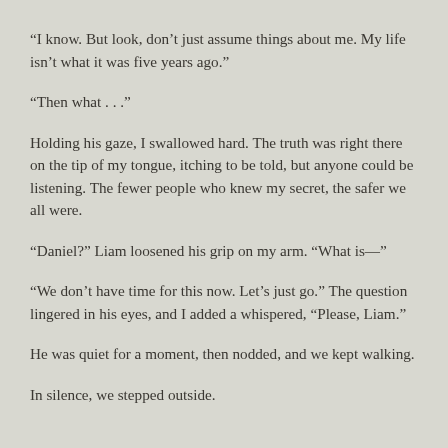“I know. But look, don’t just assume things about me. My life isn’t what it was five years ago.”
“Then what . . .”
Holding his gaze, I swallowed hard. The truth was right there on the tip of my tongue, itching to be told, but anyone could be listening. The fewer people who knew my secret, the safer we all were.
“Daniel?” Liam loosened his grip on my arm. “What is—”
“We don’t have time for this now. Let’s just go.” The question lingered in his eyes, and I added a whispered, “Please, Liam.”
He was quiet for a moment, then nodded, and we kept walking.
In silence, we stepped outside.